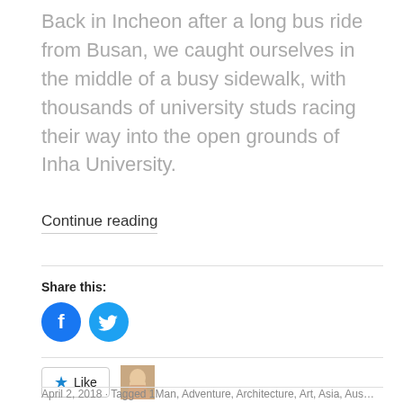Back in Incheon after a long bus ride from Busan, we caught ourselves in the middle of a busy sidewalk, with thousands of university studs racing their way into the open grounds of Inha University.
Continue reading
Share this:
[Figure (illustration): Facebook and Twitter share icon buttons (blue circles)]
Like
[Figure (photo): Small blogger avatar thumbnail]
One blogger likes this.
April 2, 2018 · Tagged 1Man, Adventure, Architecture, Art, Asia, Aus…